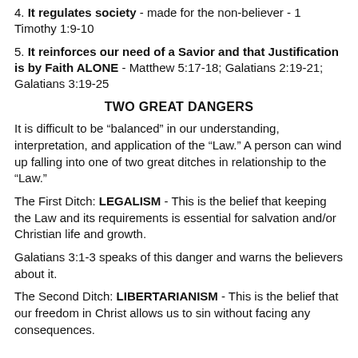4. It regulates society - made for the non-believer - 1 Timothy 1:9-10
5. It reinforces our need of a Savior and that Justification is by Faith ALONE - Matthew 5:17-18; Galatians 2:19-21; Galatians 3:19-25
TWO GREAT DANGERS
It is difficult to be “balanced” in our understanding, interpretation, and application of the “Law.” A person can wind up falling into one of two great ditches in relationship to the “Law.”
The First Ditch: LEGALISM - This is the belief that keeping the Law and its requirements is essential for salvation and/or Christian life and growth.
Galatians 3:1-3 speaks of this danger and warns the believers about it.
The Second Ditch: LIBERTARIANISM - This is the belief that our freedom in Christ allows us to sin without facing any consequences.